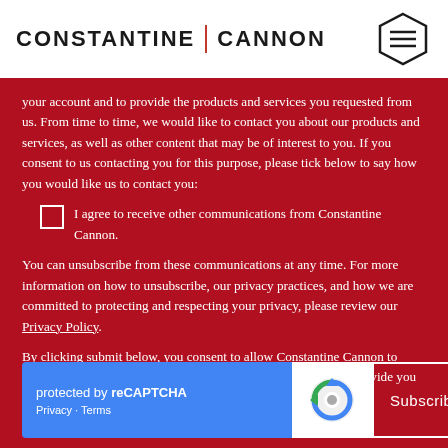CONSTANTINE | CANNON
your account and to provide the products and services you requested from us. From time to time, we would like to contact you about our products and services, as well as other content that may be of interest to you. If you consent to us contacting you for this purpose, please tick below to say how you would like us to contact you:
I agree to receive other communications from Constantine Cannon.
You can unsubscribe from these communications at any time. For more information on how to unsubscribe, our privacy practices, and how we are committed to protecting and respecting your privacy, please review our Privacy Policy.
By clicking submit below, you consent to allow Constantine Cannon to store and process the personal information submitted above to provide you the content requested.
[Figure (other): reCAPTCHA badge with Google logo, protected by reCAPTCHA text, Privacy and Terms links, and a Subscribe button]